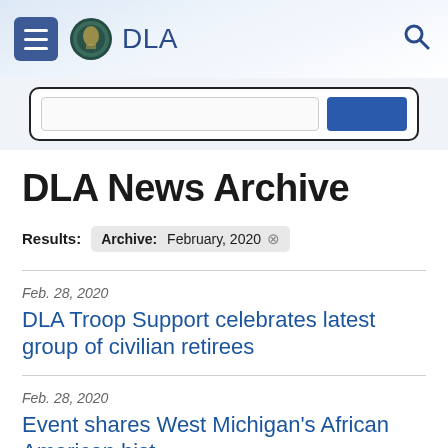DLA
DLA News Archive
Results: Archive: February, 2020
Feb. 28, 2020
DLA Troop Support celebrates latest group of civilian retirees
Feb. 28, 2020
Event shares West Michigan's African American hist…